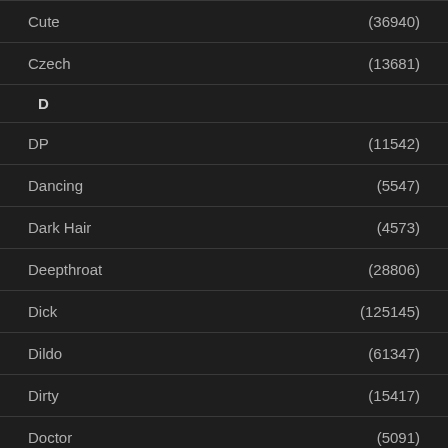Cute (36940)
Czech (13681)
D
DP (11542)
Dancing (5547)
Dark Hair (4573)
Deepthroat (28806)
Dick (125145)
Dildo (61347)
Dirty (15417)
Doctor (5091)